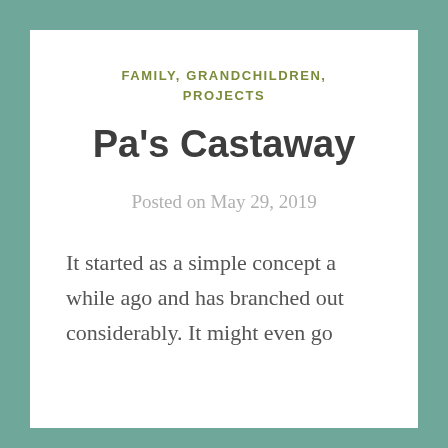FAMILY, GRANDCHILDREN, PROJECTS
Pa's Castaway
Posted on May 29, 2019
It started as a simple concept a while ago and has branched out considerably. It might even go